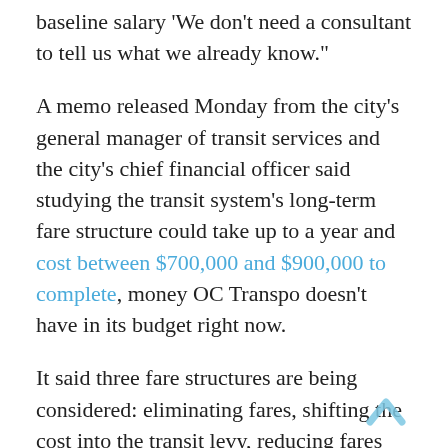baseline salary 'We don't need a consultant to tell us what we already know.'
A memo released Monday from the city's general manager of transit services and the city's chief financial officer said studying the transit system's long-term fare structure could take up to a year and cost between $700,000 and $900,000 to complete, money OC Transpo doesn't have in its budget right now.
It said three fare structures are being considered: eliminating fares, shifting the cost into the transit levy, reducing fares somewhat and increasing the transit levy (i.e. the revenue-to-cost ratio), or freezing fares at 2022 levels. Staff estimated that, for an average home with an assessed value of $415,000, the options would increase property taxes by $482, $162, or $11, respectively, though
[Figure (other): Light blue upward-pointing chevron/arrow icon for scroll to top]